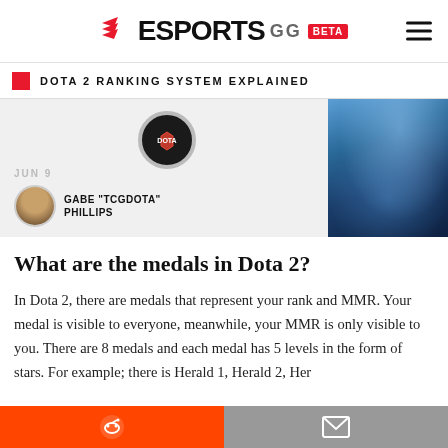ESPORTS GG BETA
DOTA 2 RANKING SYSTEM EXPLAINED
[Figure (illustration): Article card with author avatar of Gabe 'TCGDOTA' Phillips, a Dota 2 badge icon, and a stylized blue fantasy character image on the right]
What are the medals in Dota 2?
In Dota 2, there are medals that represent your rank and MMR. Your medal is visible to everyone, meanwhile, your MMR is only visible to you. There are 8 medals and each medal has 5 levels in the form of stars. For example; there is Herald 1, Herald 2, Her